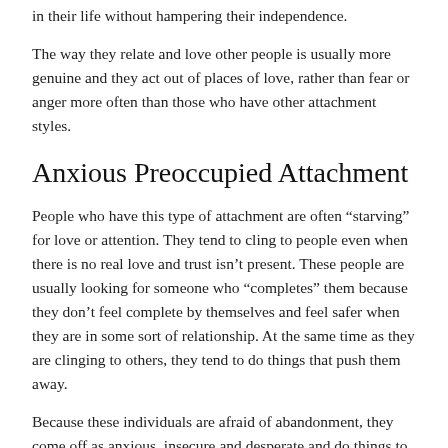in their life without hampering their independence.
The way they relate and love other people is usually more genuine and they act out of places of love, rather than fear or anger more often than those who have other attachment styles.
Anxious Preoccupied Attachment
People who have this type of attachment are often “starving” for love or attention. They tend to cling to people even when there is no real love and trust isn’t present. These people are usually looking for someone who “completes” them because they don’t feel complete by themselves and feel safer when they are in some sort of relationship. At the same time as they are clinging to others, they tend to do things that push them away.
Because these individuals are afraid of abandonment, they come off as anxious, insecure and desperate and do things to